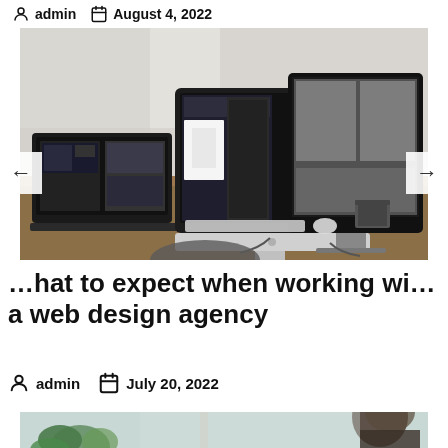admin  August 4, 2022
[Figure (photo): A desk setup with multiple computer monitors and a laptop displaying design/UI work, with peripheral devices on the desk.]
...hat to expect when working wi... a web design agency
admin  July 20, 2022
[Figure (photo): Partial view of a person working at a desk with a plant in the background.]